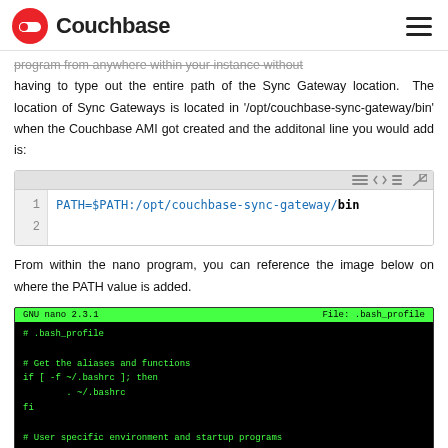Couchbase
program from anywhere within your instance without having to type out the entire path of the Sync Gateway location. The location of Sync Gateways is located in '/opt/couchbase-sync-gateway/bin' when the Couchbase AMI got created and the additonal line you would add is:
[Figure (screenshot): Code block showing: PATH=$PATH:/opt/couchbase-sync-gateway/bin with line numbers 1 and 2]
From within the nano program, you can reference the image below on where the PATH value is added.
[Figure (screenshot): GNU nano 2.3.1 terminal showing .bash_profile with PATH=$PATH:$HOME/bin and PATH=$PATH:/opt/couchbase-sync-gateway/bin]